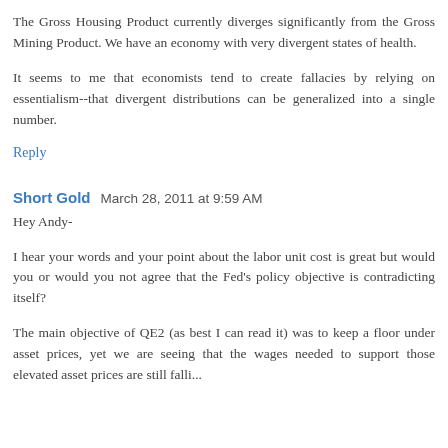The Gross Housing Product currently diverges significantly from the Gross Mining Product. We have an economy with very divergent states of health.
It seems to me that economists tend to create fallacies by relying on essentialism--that divergent distributions can be generalized into a single number.
Reply
Short Gold   March 28, 2011 at 9:59 AM
Hey Andy-
I hear your words and your point about the labor unit cost is great but would you or would you not agree that the Fed's policy objective is contradicting itself?
The main objective of QE2 (as best I can read it) was to keep a floor under asset prices, yet we are seeing that the wages needed to support those elevated asset prices are still falling...